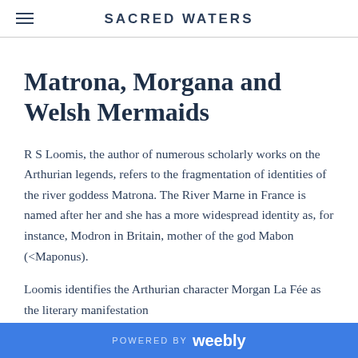SACRED WATERS
Matrona, Morgana and Welsh Mermaids
R S Loomis, the author of numerous scholarly works on the Arthurian legends, refers to the fragmentation of identities of the river goddess Matrona. The River Marne in France is named after her and she has a more widespread identity as, for instance, Modron in Britain, mother of the god Mabon (<Maponus).
Loomis identifies the Arthurian character Morgan La Fée as the literary manifestation
POWERED BY weebly